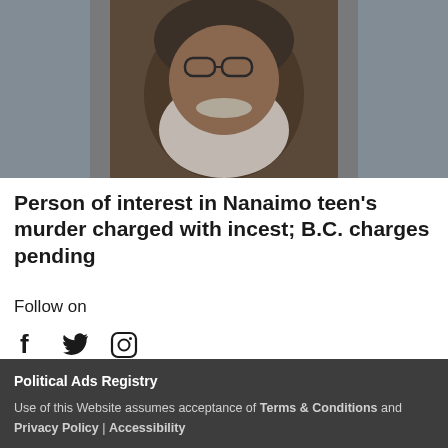[Figure (photo): Close-up photo of an older man with glasses and a white/grey beard, looking to the side. Background is blurred, showing what appears to be a store interior.]
Person of interest in Nanaimo teen's murder charged with incest; B.C. charges pending
Follow on
[Figure (other): Social media icons: Facebook, Twitter, Instagram]
Political Ads Registry
Use of this Website assumes acceptance of Terms & Conditions and Privacy Policy | Accessibility